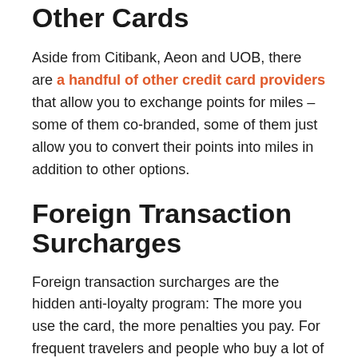Other Cards
Aside from Citibank, Aeon and UOB, there are a handful of other credit card providers that allow you to exchange points for miles – some of them co-branded, some of them just allow you to convert their points into miles in addition to other options.
Foreign Transaction Surcharges
Foreign transaction surcharges are the hidden anti-loyalty program: The more you use the card, the more penalties you pay. For frequent travelers and people who buy a lot of items online (especially businesses), this is the single biggest cost of credit card usage (easily eclipsing any annual fee you might be paying).